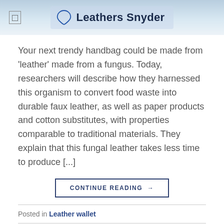Leathers Snyder
Your next trendy handbag could be made from 'leather' made from a fungus. Today, researchers will describe how they harnessed this organism to convert food waste into durable faux leather, as well as paper products and cotton substitutes, with properties comparable to traditional materials. They explain that this fungal leather takes less time to produce [...]
CONTINUE READING →
Posted in Leather wallet
LEATHER WALLET
Small Leather Wallet Genuine Leather Women's Wallet with Metal Logo